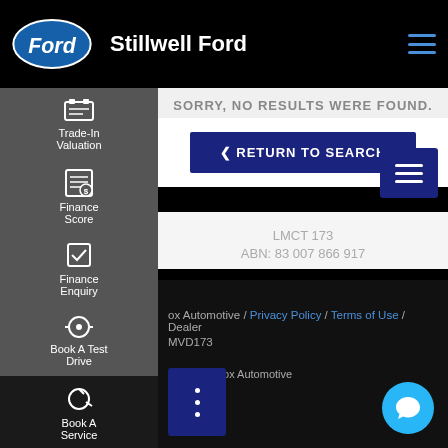[Figure (logo): Ford oval logo in blue and white]
Stillwell Ford
Go Further
SORRY, NO RESULTS WERE FOUND.
RETURN TO SEARCH
LMCT 173
ABN: 83 007 866 917
ox Automotive / Privacy Policy / Terms of Use / Dealer MVD173
ebsite by Cox Automotive
Trade-In Valuation
Finance Score
Finance Enquiry
Book A Test Drive
Book A Service